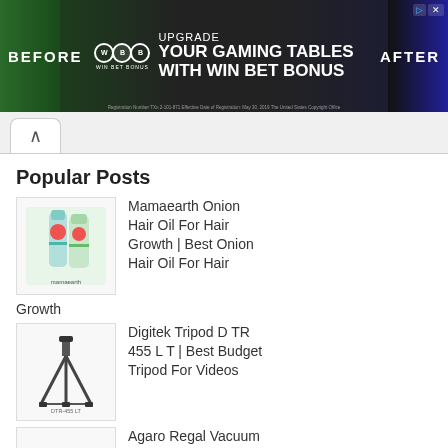[Figure (screenshot): Advertisement banner for 'Win Bet Bonus' — text reads 'UPGRADE YOUR GAMING TABLES WITH WIN BET BONUS', with BEFORE and AFTER labels on left and right, three overlapping circles logo, and registration small print at bottom.]
Popular Posts
[Figure (photo): Product image of Mamaearth Onion Hair Oil bottles on a green background]
Mamaearth Onion Hair Oil For Hair Growth | Best Onion Hair Oil For Hair Growth
[Figure (photo): Product image of Digitek Tripod DTR 455 LT]
Digitek Tripod DTR 455 LT | Best Budget Tripod For Videos
[Figure (photo): Product image of Agaro Regal Vacuum Cleaner]
Agaro Regal Vacuum Cleaner | Best Vacuum Cleaner 2021